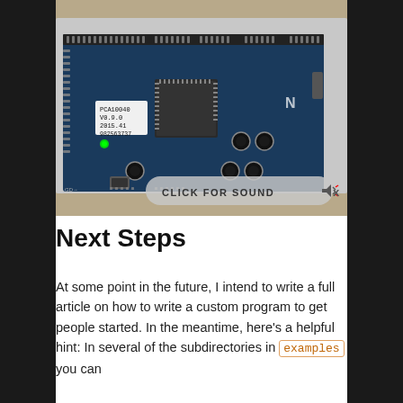[Figure (photo): Photo of a Nordic Semiconductor development board (PCA10040, V0.9.0, 2015.41) placed on a surface. The board is a blue PCB with various chips, connectors, and buttons visible. A label on a chip reads 'PCA10040 V0.9.0 2015.41 982563737'. A 'CLICK FOR SOUND' overlay with a muted speaker icon appears at the bottom of the image.]
Next Steps
At some point in the future, I intend to write a full article on how to write a custom program to get people started. In the meantime, here's a helpful hint: In several of the subdirectories in examples you can